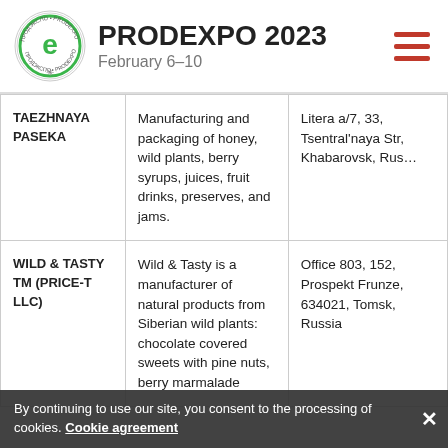PRODEXPO 2023 February 6–10
| Company | Description | Address |
| --- | --- | --- |
| TAEZHNAYA PASEKA | Manufacturing and packaging of honey, wild plants, berry syrups, juices, fruit drinks, preserves, and jams. | Litera a/7, 33, Tsentral'naya Str, Khabarovsk, Russia |
| WILD & TASTY TM (PRICE-T LLC) | Wild & Tasty is a manufacturer of natural products from Siberian wild plants: chocolate covered sweets with pine nuts, berry marmalade | Office 803, 152, Prospekt Frunze, 634021, Tomsk, Russia |
By continuing to use our site, you consent to the processing of cookies. Cookie agreement